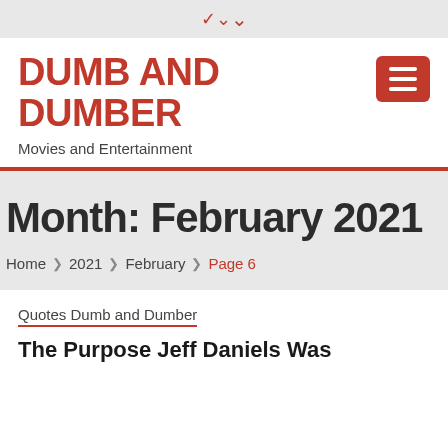▾
DUMB AND DUMBER
Movies and Entertainment
Month: February 2021
Home › 2021 › February › Page 6
Quotes Dumb and Dumber
The Purpose Jeff Daniels Was